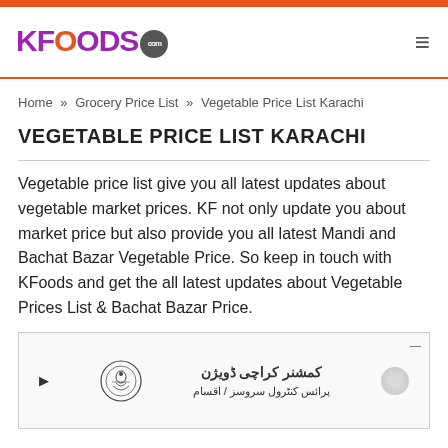KFoods.com
Home » Grocery Price List » Vegetable Price List Karachi
VEGETABLE PRICE LIST KARACHI
Vegetable price list give you all latest updates about vegetable market prices. KF not only update you about market price but also provide you all latest Mandi and Bachat Bazar Vegetable Price. So keep in touch with KFoods and get the all latest updates about Vegetable Prices List & Bachat Bazar Price.
[Figure (photo): Scanned government document showing an emblem/seal and Urdu text header for a price list or official notification]